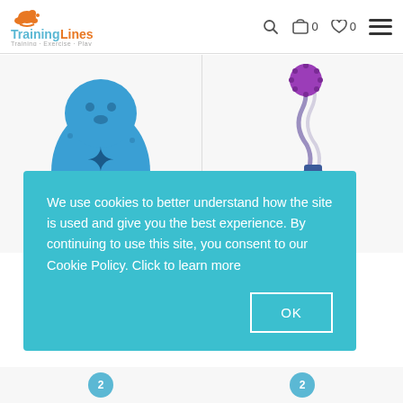[Figure (logo): Training Lines logo with dog silhouette, blue and orange text, tagline Training · Exercise · Play]
[Figure (photo): Blue rubber penguin-shaped dog chew toy with star-shaped hole on front]
[Figure (photo): Blue bottle-shaped dog toy with purple spiky ball on rope]
ing Dog
We use cookies to better understand how the site is used and give you the best experience. By continuing to use this site, you consent to our Cookie Policy. Click to learn more
OK
2
2